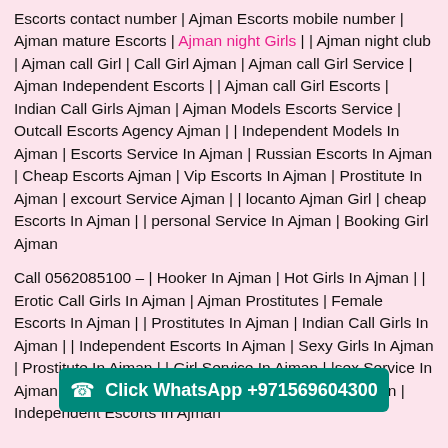Escorts contact number | Ajman Escorts mobile number | Ajman mature Escorts | Ajman night Girls | | Ajman night club | Ajman call Girl | Call Girl Ajman | Ajman call Girl Service | Ajman Independent Escorts | | Ajman call Girl Escorts | Indian Call Girls Ajman | Ajman Models Escorts Service | Outcall Escorts Agency Ajman | | Independent Models In Ajman | Escorts Service In Ajman | Russian Escorts In Ajman | Cheap Escorts Ajman | Vip Escorts In Ajman | Prostitute In Ajman | excourt Service Ajman | | locanto Ajman Girl | cheap Escorts In Ajman | | personal Service In Ajman | Booking Girl Ajman
Call 0562085100 – | Hooker In Ajman | Hot Girls In Ajman | | Erotic Call Girls In Ajman | Ajman Prostitutes | Female Escorts In Ajman | | Prostitutes In Ajman | Indian Call Girls In Ajman | | Independent Escorts In Ajman | Sexy Girls In Ajman | Prostitute In Ajman | | Girl Service In Ajman | |sex Service In Ajman | | Escorts Girls In Ajman | Escorts Girls In Ajman | Independent Escorts In Ajman
Click WhatsApp +971569604300